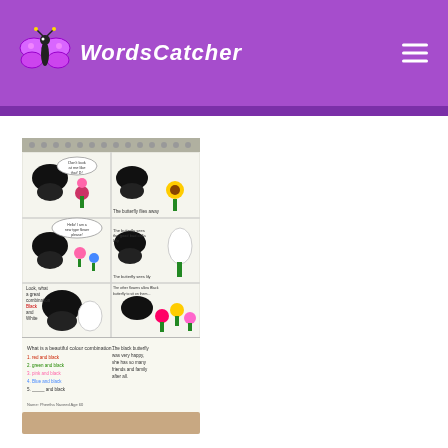WordsCatcher
[Figure (photo): A hand-drawn comic book / notebook page showing a black butterfly character with speech bubbles and colorful flowers, with handwritten text about color combinations and the butterfly's happiness. Name: Pheetha Naveed, Age 60.]